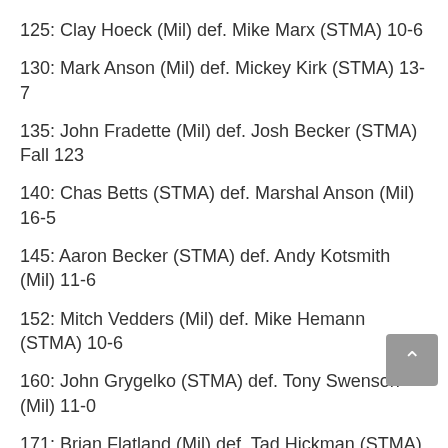125: Clay Hoeck (Mil) def. Mike Marx (STMA) 10-6
130: Mark Anson (Mil) def. Mickey Kirk (STMA) 13-7
135: John Fradette (Mil) def. Josh Becker (STMA) Fall 123
140: Chas Betts (STMA) def. Marshal Anson (Mil) 16-5
145: Aaron Becker (STMA) def. Andy Kotsmith (Mil) 11-6
152: Mitch Vedders (Mil) def. Mike Hemann (STMA) 10-6
160: John Grygelko (STMA) def. Tony Swenson (Mil) 11-0
171: Brian Flatland (Mil) def. Tad Hickman (STMA) Fall 547
189: Craig Kotsmith (Mil) def. Jason Eull (STMA) Fall 517
275: Charlie Bammert (STMA) def. Peter Beckstrom (Mil) 6-0